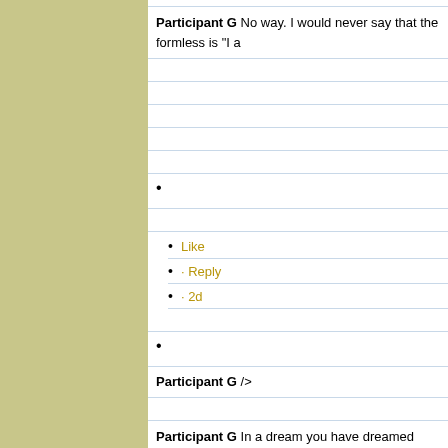Participant G No way. I would never say that the formless is "I a
Like
· Reply
· 2d
Participant G />
Participant G In a dream you have dreamed tables and chairs, b is the dreaming.